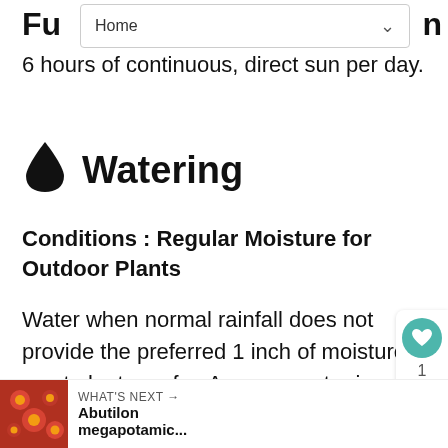Home
6 hours of continuous, direct sun per day.
💧 Watering
Conditions : Regular Moisture for Outdoor Plants
Water when normal rainfall does not provide the preferred 1 inch of moisture most plants prefer. Average water is needed during the growing season, but take care not to overwater. The first two years after a plant is installed, regular watering is important. The first year is critical. It is better to water once a